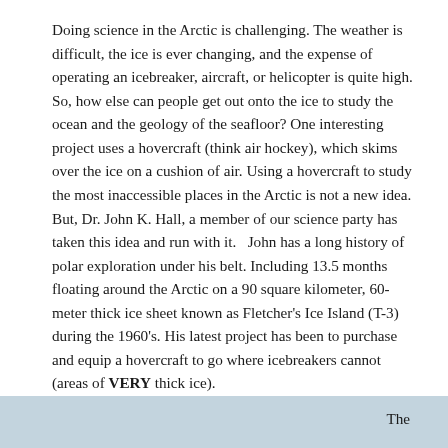Doing science in the Arctic is challenging.  The weather is difficult, the ice is ever changing, and the expense of operating an icebreaker, aircraft, or helicopter is quite high.  So, how else can people get out onto the ice to study the ocean and the geology of the seafloor? One interesting project uses a hovercraft (think air hockey), which skims over the ice on a cushion of air. Using a hovercraft to study the most inaccessible places in the Arctic is not a new idea. But, Dr. John K. Hall, a member of our science party has taken this idea and run with it.   John has a long history of polar exploration under his belt.  Including 13.5 months floating around the Arctic on a 90 square kilometer, 60-meter thick ice sheet known as Fletcher's Ice Island (T-3) during the 1960's. His latest project has been to purchase and equip a hovercraft to go where icebreakers cannot (areas of VERY thick ice).
[Figure (photo): Partial view of a photo strip at the bottom of the page, light blue-gray in color, likely showing Arctic ice or hovercraft imagery. Only the top portion is visible.]
The